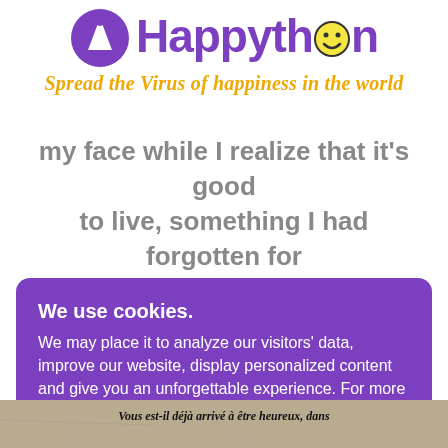[Figure (logo): Happython logo: purple circle with white mountain/beacon icon, followed by 'Happython' text in purple with a yellow smiley face replacing the 'o', and tagline 'Spread the Virus of happiness in the world' in yellow italic below]
my face while I realize that it's good to live, something I had forgotten for a moment.
We use cookies. We may place it to analyze our visitors' data, improve our website, display personalized content and give you an unforgettable experience. For more information on the cookies we use, open the settings. Learn more
[Figure (screenshot): Bottom strip showing partial French text 'Vous est-il déjà arrivé à être heureux, dans' over a map background image]